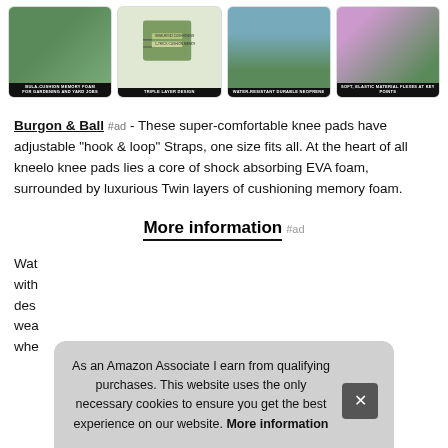[Figure (photo): Four product thumbnail images of Burgon & Ball knee pads showing different features: person wearing knee pads while gardening, triple layer design diagram, water-resistant durable neoprene, and soft elastic material flexes at key points.]
Burgon & Ball #ad - These super-comfortable knee pads have adjustable "hook & loop" Straps, one size fits all. At the heart of all kneelo knee pads lies a core of shock absorbing EVA foam, surrounded by luxurious Twin layers of cushioning memory foam.
More information #ad
Wat with des wea whe
As an Amazon Associate I earn from qualifying purchases. This website uses the only necessary cookies to ensure you get the best experience on our website. More information